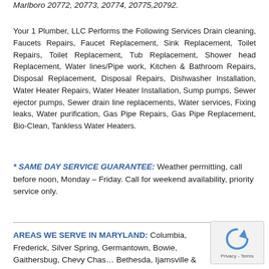Marlboro 20772, 20773, 20774, 20775,20792.
Your 1 Plumber, LLC Performs the Following Services Drain cleaning, Faucets Repairs, Faucet Replacement, Sink Replacement, Toilet Repairs, Toilet Replacement, Tub Replacement, Shower head Replacement, Water lines/Pipe work, Kitchen & Bathroom Repairs, Disposal Replacement, Disposal Repairs, Dishwasher Installation, Water Heater Repairs, Water Heater Installation, Sump pumps, Sewer ejector pumps, Sewer drain line replacements, Water services, Fixing leaks, Water purification, Gas Pipe Repairs, Gas Pipe Replacement, Bio-Clean, Tankless Water Heaters.
* SAME DAY SERVICE GUARANTEE: Weather permitting, call before noon, Monday – Friday. Call for weekend availability, priority service only.
AREAS WE SERVE IN MARYLAND: Columbia, Frederick, Silver Spring, Germantown, Bowie, Gaithersburg, Chevy Chase, Bethesda, Ijamsville & Hyattsville